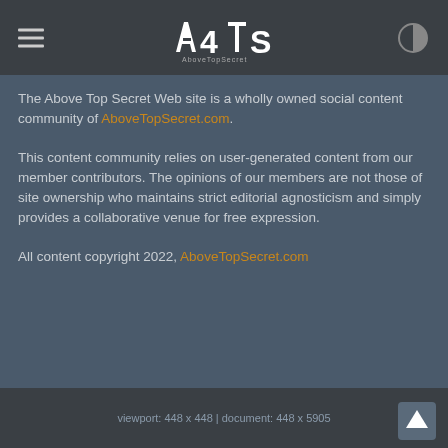AboveTopSecret.com - ATS logo header with hamburger menu and contrast toggle
The Above Top Secret Web site is a wholly owned social content community of AboveTopSecret.com.
This content community relies on user-generated content from our member contributors. The opinions of our members are not those of site ownership who maintains strict editorial agnosticism and simply provides a collaborative venue for free expression.
All content copyright 2022, AboveTopSecret.com
viewport: 448 x 448 | document: 448 x 5905